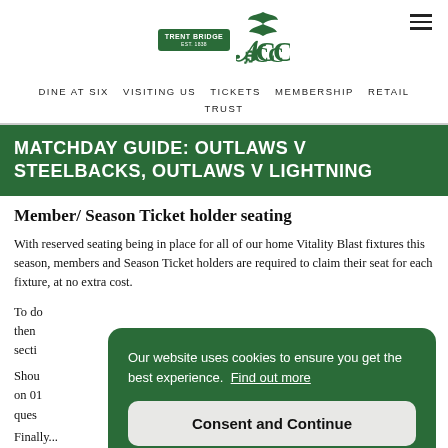DINE AT SIX   VISITING US   TICKETS   MEMBERSHIP   RETAIL   TRUST
MATCHDAY GUIDE: OUTLAWS V STEELBACKS, OUTLAWS V LIGHTNING
Member/ Season Ticket holder seating
With reserved seating being in place for all of our home Vitality Blast fixtures this season, members and Season Ticket holders are required to claim their seat for each fixture, at no extra cost.
To do...then...secti...
Shou...on 01...ques...
Finally...
Our website uses cookies to ensure you get the best experience.  Find out more
Consent and Continue